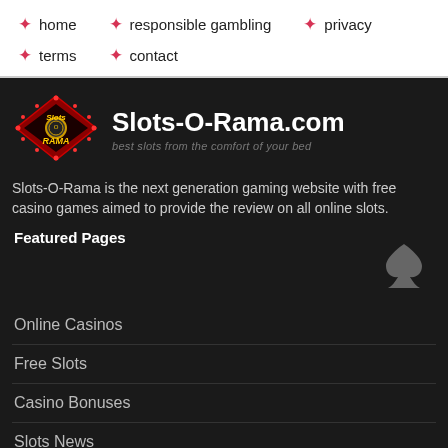home | responsible gambling | privacy | terms | contact
[Figure (logo): Slots-O-Rama casino logo: diamond shaped marquee sign with neon lights]
Slots-O-Rama.com
best slots from the comfort of your bed
Slots-O-Rama is the next generation gaming website with free casino games aimed to provide the review on all online slots.
Featured Pages
Online Casinos
Free Slots
Casino Bonuses
Slots News